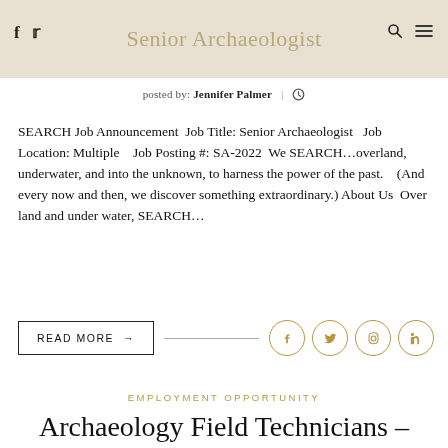Senior Archaeologist
posted by: Jennifer Palmer | (clock icon)
SEARCH Job Announcement  Job Title: Senior Archaeologist   Job Location: Multiple    Job Posting #: SA-2022  We SEARCH…overland, underwater, and into the unknown, to harness the power of the past.   (And every now and then, we discover something extraordinary.)  About Us  Over land and under water, SEARCH…
READ MORE →
EMPLOYMENT OPPORTUNITY
Archaeology Field Technicians –